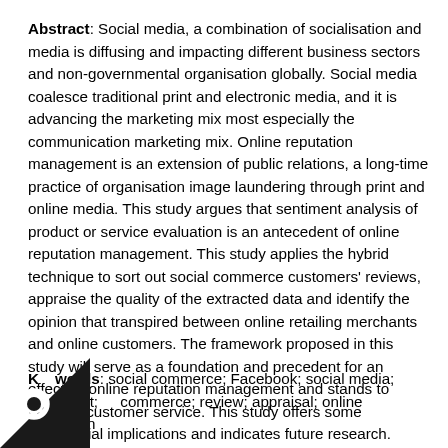Abstract: Social media, a combination of socialisation and media is diffusing and impacting different business sectors and non-governmental organisation globally. Social media coalesce traditional print and electronic media, and it is advancing the marketing mix most especially the communication marketing mix. Online reputation management is an extension of public relations, a long-time practice of organisation image laundering through print and online media. This study argues that sentiment analysis of product or service evaluation is an antecedent of online reputation management. This study applies the hybrid technique to sort out social commerce customers' reviews, appraise the quality of the extracted data and identify the opinion that transpired between online retailing merchants and online customers. The framework proposed in this study will serve as a foundation and precedent for an effective online reputation management and stands to improve customer service. This study offers some managerial implications and indicates future research.
Keywords: social commerce; Facebook; social media; sentiment; commerce; review; appraisal; online reputation management.